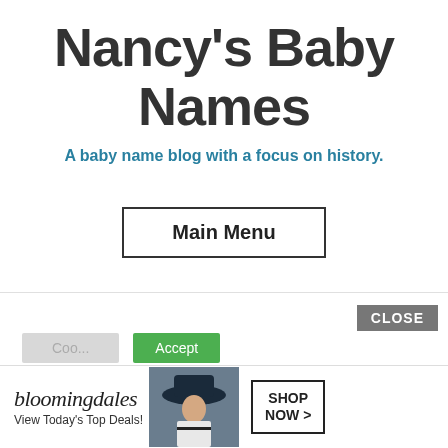Nancy's Baby Names
A baby name blog with a focus on history.
Main Menu
We use cookies on our website to give you the most relevant experience by remembering your preferences and repeat visits. By clicking “Accept”, you consent to the use of ALL the cookies.
Do not sell my personal information.
[Figure (screenshot): Cookie consent bar with settings button (grey), accept button (green), and CLOSE button (dark grey), plus a Bloomingdale's advertisement banner at the bottom showing 'bloomingdales', 'View Today's Top Deals!', a woman in a hat, and a SHOP NOW button.]